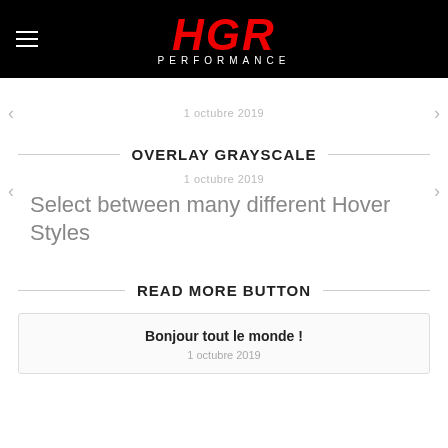[Figure (logo): HGR Performance logo in red italic bold font on black background with hamburger menu icon on left]
1 octubre 2019
OVERLAY GRAYSCALE
1 octubre 2019
Select between many different Hover Styles
READ MORE BUTTON
Bonjour tout le monde !
1 octubre 2019